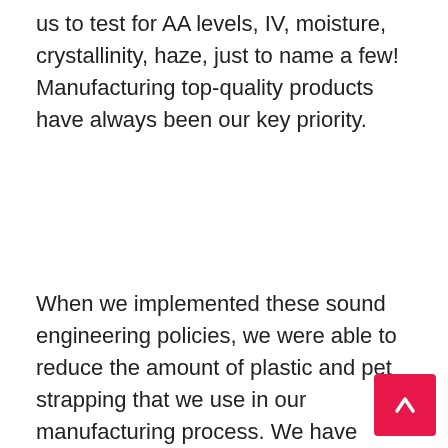us to test for AA levels, IV, moisture, crystallinity, haze, just to name a few! Manufacturing top-quality products have always been our key priority.
When we implemented these sound engineering policies, we were able to reduce the amount of plastic and pet strapping that we use in our manufacturing process. We have been able to reduce the amount of plastic and pet strapping that we use in our manufacturing process. This is because of the sound engineering policies that we have put in place and which are regularly reviewed for improvement. — In order to achieve this goal, we have implemented sound engineering policies which are regularly reviewed for